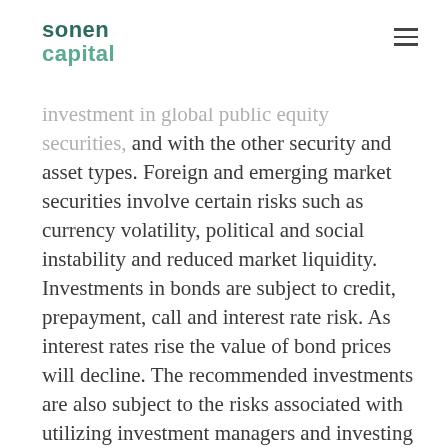sonen capital
The investments Sonen recommends are subject to investment risks associated with investment in global public equity securities, and with the other security and asset types. Foreign and emerging market securities involve certain risks such as currency volatility, political and social instability and reduced market liquidity. Investments in bonds are subject to credit, prepayment, call and interest rate risk. As interest rates rise the value of bond prices will decline. The recommended investments are also subject to the risks associated with utilizing investment managers and investing in investment funds.
Investments in global real assets include investments in industries that involve activities